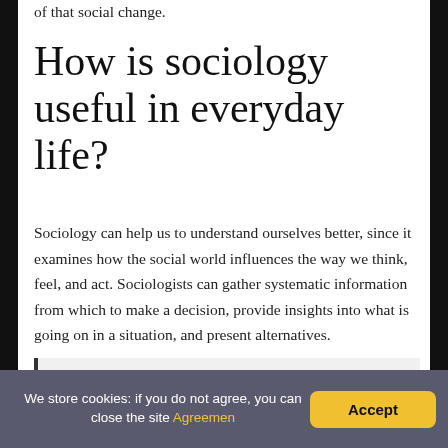of that social change.
How is sociology useful in everyday life?
Sociology can help us to understand ourselves better, since it examines how the social world influences the way we think, feel, and act. Sociologists can gather systematic information from which to make a decision, provide insights into what is going on in a situation, and present alternatives.
You might be interested: FAQ:
We store cookies: if you do not agree, you can close the site Agreemen